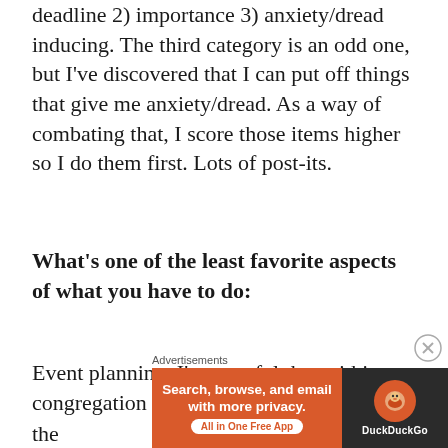deadline 2) importance 3) anxiety/dread inducing. The third category is an odd one, but I've discovered that I can put off things that give me anxiety/dread. As a way of combating that, I score those items higher so I do them first. Lots of post-its.
What's one of the least favorite aspects of what you have to do:
Event planning. I'm grateful that within our congregation we have many people with the
[Figure (other): DuckDuckGo advertisement banner: orange left section with text 'Search, browse, and email with more privacy. All in One Free App' and dark right section with DuckDuckGo logo and name. Labeled 'Advertisements' above.]